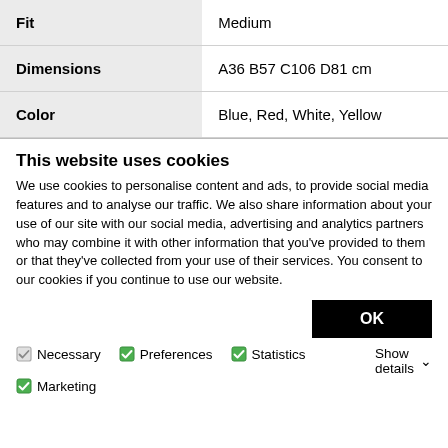| Attribute | Value |
| --- | --- |
| Fit | Medium |
| Dimensions | A36 B57 C106 D81 cm |
| Color | Blue, Red, White, Yellow |
This website uses cookies
We use cookies to personalise content and ads, to provide social media features and to analyse our traffic. We also share information about your use of our site with our social media, advertising and analytics partners who may combine it with other information that you've provided to them or that they've collected from your use of their services. You consent to our cookies if you continue to use our website.
OK
Necessary  Preferences  Statistics  Marketing  Show details